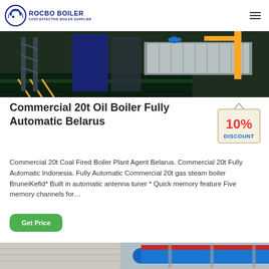ROCBO BOILER COST-EFFECTIVE BOILER SUPPLIER
[Figure (photo): Industrial boiler manufacturing facility showing large boiler panels and yellow crane/arm structure]
Commercial 20t Oil Boiler Fully Automatic Belarus
[Figure (illustration): 10% DISCOUNT badge/sticker]
Commercial 20t Coal Fired Boiler Plant Agent Belarus. Commercial 20t Fully Automatic Indonesia. Fully Automatic Commercial 20t gas steam boiler BruneiKefid* Built in automatic antenna tuner * Quick memory feature Five memory channels for…
Get Price
[Figure (photo): Industrial boiler piping system with blue and red pipes]